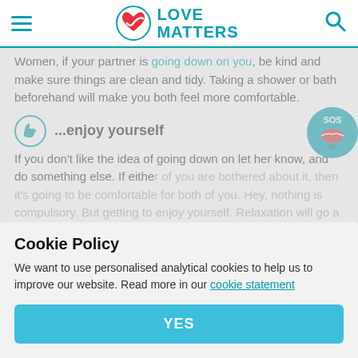LOVE MATTERS
Women, if your partner is going down on you, be kind and make sure things are clean and tidy. Taking a shower or bath beforehand will make you both feel more comfortable.
...enjoy yourself
If you don't like the idea of going down on let her know, and do something else. If either of you are bothered about it, then it's going to be uncomfortable for both of you. Hey, nothing is compulsory. But getting to enjoy yourself. Relaxation will go a long way towards helping your lady feel more relaxed.
The main focus of your below-the-belt exploration will be the clitoris, essentially
Cookie Policy
We want to use personalised analytical cookies to help us to improve our website. Read more in our cookie statement
YES